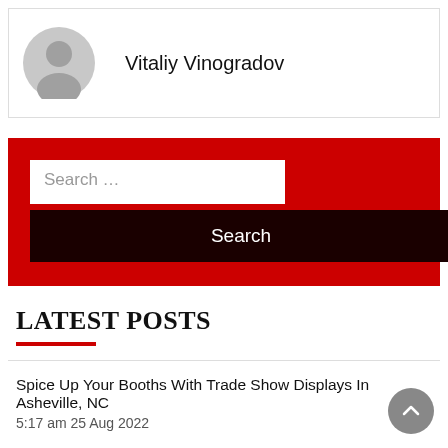[Figure (illustration): Gray default user avatar circle icon with person silhouette]
Vitaliy Vinogradov
[Figure (screenshot): Red background search widget with white search input field labeled 'Search ...' and a dark maroon Search button]
LATEST POSTS
Spice Up Your Booths With Trade Show Displays In Asheville, NC
5:17 am 25 Aug 2022